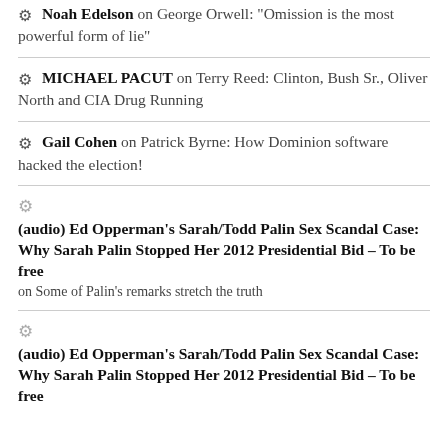Noah Edelson on George Orwell: "Omission is the most powerful form of lie"
MICHAEL PACUT on Terry Reed: Clinton, Bush Sr., Oliver North and CIA Drug Running
Gail Cohen on Patrick Byrne: How Dominion software hacked the election!
(audio) Ed Opperman's Sarah/Todd Palin Sex Scandal Case: Why Sarah Palin Stopped Her 2012 Presidential Bid – To be free on Some of Palin's remarks stretch the truth
(audio) Ed Opperman's Sarah/Todd Palin Sex Scandal Case: Why Sarah Palin Stopped Her 2012 Presidential Bid – To be free